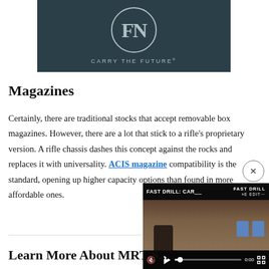[Figure (logo): FN America logo with oval FN monogram and tagline 'CARRY THE FUTURE' on dark teal/navy background]
Magazines
Certainly, there are traditional stocks that accept removable box magazines. However, there are a lot that stick to a rifle's proprietary version. A rifle chassis dashes this concept against the rocks and replaces it with universality. ACIS magazine compatibility is the standard, ope[ning up] higher capacity options than fou[nd in] more affordable ones.
[Figure (screenshot): Embedded video player overlay showing 'FAST DRILL: CAR...' title, outdoor shooting range scene with person and blue targets, video controls including mute, play, progress bar at 0:00, and fullscreen button]
Learn More About MRT S...